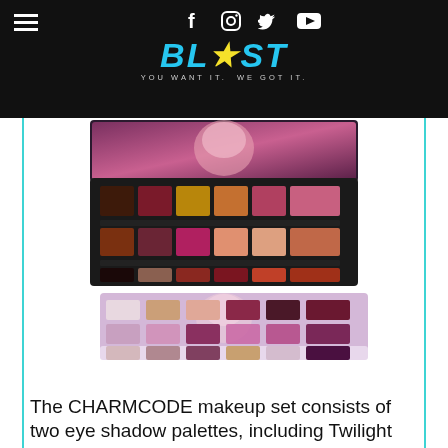BLAST — YOU WANT IT. WE GOT IT.
[Figure (photo): Two eyeshadow makeup palettes: top one is dark with warm burgundy, gold, and rose tones on a black case with a glamorous face on lid; bottom one is lighter lavender/pink case with mauve, pink, burgundy, and glitter shades.]
The CHARMCODE makeup set consists of two eye shadow palettes, including Twilight